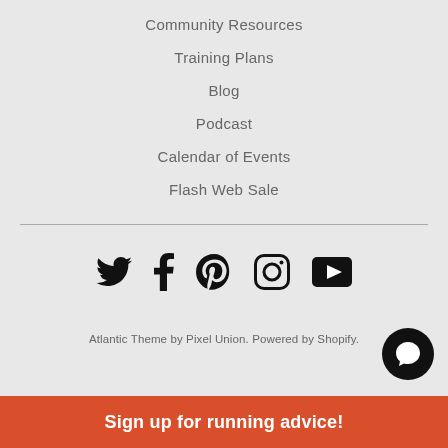Community Resources
Training Plans
Blog
Podcast
Calendar of Events
Flash Web Sale
[Figure (other): Social media icons: Twitter, Facebook, Pinterest, Instagram, YouTube]
Atlantic Theme by Pixel Union. Powered by Shopify.
Sign up for running advice!